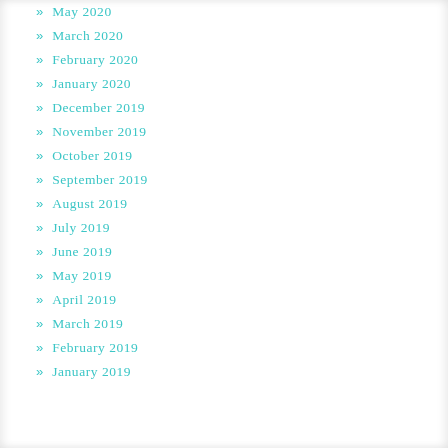» May 2020
» March 2020
» February 2020
» January 2020
» December 2019
» November 2019
» October 2019
» September 2019
» August 2019
» July 2019
» June 2019
» May 2019
» April 2019
» March 2019
» February 2019
» January 2019